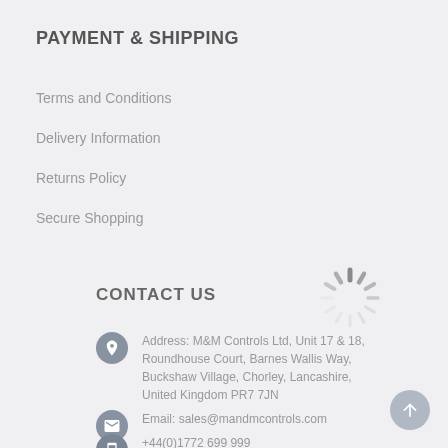PAYMENT & SHIPPING
Terms and Conditions
Delivery Information
Returns Policy
Secure Shopping
[Figure (illustration): Loading spinner / activity indicator icon]
CONTACT US
Address: M&M Controls Ltd, Unit 17 & 18, Roundhouse Court, Barnes Wallis Way, Buckshaw Village, Chorley, Lancashire, United Kingdom PR7 7JN
Email: sales@mandmcontrols.com
+44(0)1772 699 999